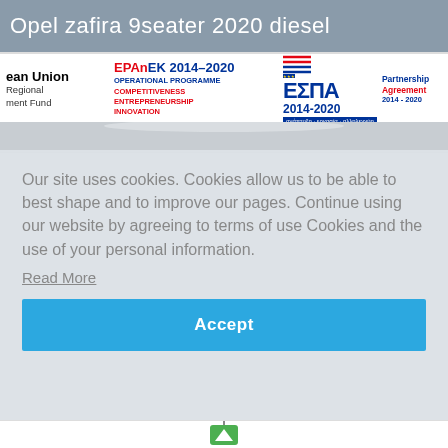Opel zafira 9seater 2020 diesel
[Figure (logo): EU Regional Development Fund logo (partially cropped on left edge)]
[Figure (logo): EPAnEK 2014–2020 Operational Programme Competitiveness Entrepreneurship Innovation logo]
[Figure (logo): ΕΣΠΑ 2014-2020 Partnership Agreement 2014-2020 logo]
[Figure (photo): Partial vehicle image strip (gray/silver)]
Our site uses cookies. Cookies allow us to be able to best shape and to improve our pages. Continue using our website by agreeing to terms of use Cookies and the use of your personal information.
Read More
Accept